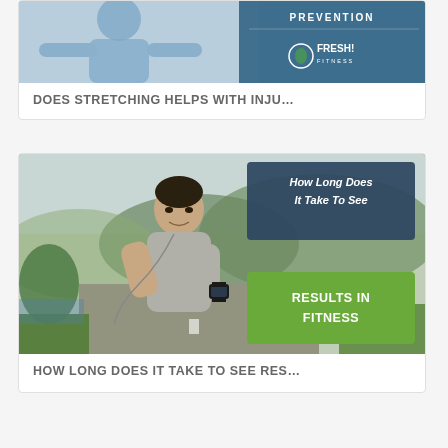[Figure (photo): Card 1: Person in blue athletic wear stretching arms outdoors, with PREVENTION text and Fresh! Fitness logo on right side overlay]
DOES STRETCHING HELPS WITH INJU...
[Figure (photo): Card 2: Asian man in gray shirt checking smartwatch outdoors on a road with green hills, overlaid with 'How Long Does It Take To See' in dark blue box and 'RESULTS IN FITNESS' in green box]
HOW LONG DOES IT TAKE TO SEE RES...